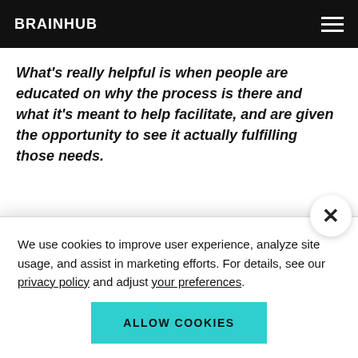BRAINHUB
What’s really helpful is when people are educated on why the process is there and what it’s meant to help facilitate, and are given the opportunity to see it actually fulfilling those needs.
How can I make sure I hire the
We use cookies to improve user experience, analyze site usage, and assist in marketing efforts. For details, see our privacy policy and adjust your preferences.
ALLOW COOKIES